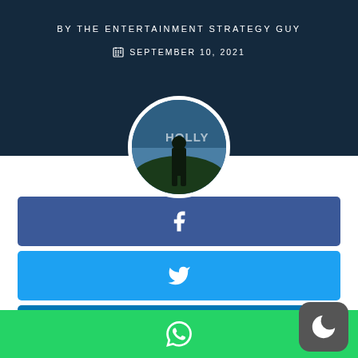BY THE ENTERTAINMENT STRATEGY GUY
SEPTEMBER 10, 2021
[Figure (photo): Circular profile photo showing a silhouette of a person against a Hollywood sign background]
[Figure (infographic): Facebook share button (dark blue bar with Facebook icon)]
[Figure (infographic): Twitter share button (light blue bar with Twitter bird icon)]
[Figure (infographic): LinkedIn share button (medium blue bar with LinkedIn 'in' icon)]
[Figure (infographic): WhatsApp share button (green bar with WhatsApp icon)]
[Figure (infographic): Dark mode toggle button (dark rounded square with crescent moon icon)]